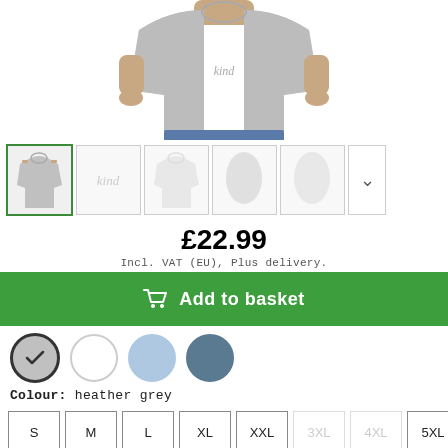[Figure (photo): Man wearing a heather grey t-shirt with 'kind' text design, cropped to show torso and upper body, wearing jeans]
[Figure (photo): Five product thumbnail images of the t-shirt from different angles including front, design close-up, back, and flat lay views, plus a navigation arrow button]
£22.99
Incl. VAT (EU), Plus delivery.
Add to basket
Colour: heather grey
S  M  L  XL  XXL  3XL  4XL  5XL